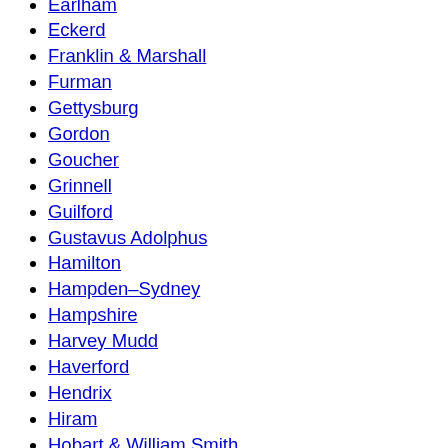Earlham
Eckerd
Franklin & Marshall
Furman
Gettysburg
Gordon
Goucher
Grinnell
Guilford
Gustavus Adolphus
Hamilton
Hampden–Sydney
Hampshire
Harvey Mudd
Haverford
Hendrix
Hiram
Hobart & William Smith
Hollins
Holy Cross
Hope
Houghton
Illinois Wesleyan
Juniata
Kalamazoo
K…